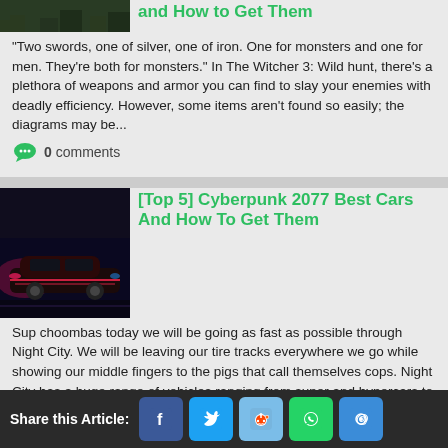[Figure (photo): Partial thumbnail image of The Witcher 3 at top of page (cropped)]
and How to Get Them
"Two swords, one of silver, one of iron. One for monsters and one for men. They're both for monsters." In The Witcher 3: Wild hunt, there's a plethora of weapons and armor you can find to slay your enemies with deadly efficiency. However, some items aren't found so easily; the diagrams may be...
0 comments
[Figure (photo): Cyberpunk 2077 car image — dark futuristic scene with red sports car and neon lighting]
[Top 5] Cyberpunk 2077 Best Cars And How To Get Them
Sup choombas today we will be going as fast as possible through Night City. We will be leaving our tire tracks everywhere we go while showing our middle fingers to the pigs that call themselves cops. Night City has a huge range of vehicles ranging from super and hypercars to motorbikes and trucks....
0 comments
[Figure (photo): Partial thumbnail of Witcher character at bottom of page (cropped)]
5 Interesting Facts
Share this Article: [Facebook] [Twitter] [Reddit] [WhatsApp] [Email]